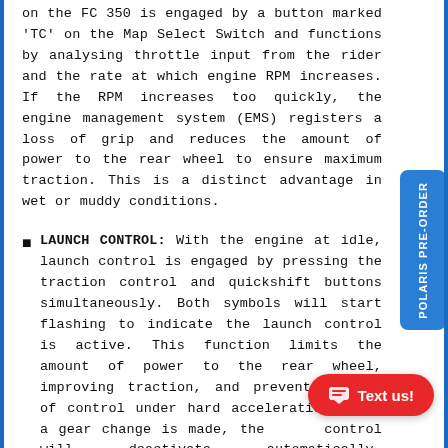on the FC 350 is engaged by a button marked 'TC' on the Map Select Switch and functions by analysing throttle input from the rider and the rate at which engine RPM increases. If the RPM increases too quickly, the engine management system (EMS) registers a loss of grip and reduces the amount of power to the rear wheel to ensure maximum traction. This is a distinct advantage in wet or muddy conditions.
LAUNCH CONTROL: With the engine at idle, launch control is engaged by pressing the traction control and quickshift buttons simultaneously. Both symbols will start flashing to indicate the launch control is active. This function limits the amount of power to the rear wheel, improving traction, and preventing loss of control under hard acceleration. When a gear change is made, the launch control will deactivate automatically. Additionally, the quickshift function is